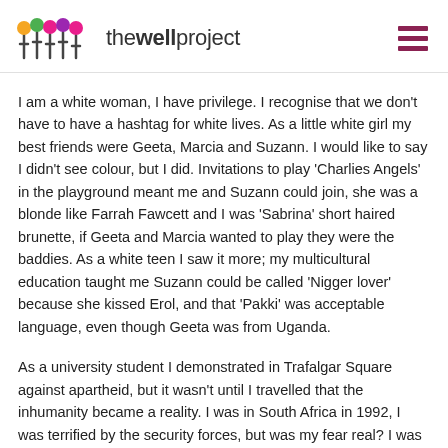the well project
I am a white woman, I have privilege. I recognise that we don't have to have a hashtag for white lives. As a little white girl my best friends were Geeta, Marcia and Suzann. I would like to say I didn't see colour, but I did. Invitations to play 'Charlies Angels' in the playground meant me and Suzann could join, she was a blonde like Farrah Fawcett and I was 'Sabrina' short haired brunette, if Geeta and Marcia wanted to play they were the baddies. As a white teen I saw it more; my multicultural education taught me Suzann could be called 'Nigger lover' because she kissed Erol, and that 'Pakki' was acceptable language, even though Geeta was from Uganda.
As a university student I demonstrated in Trafalgar Square against apartheid, but it wasn't until I travelled that the inhumanity became a reality. I was in South Africa in 1992, I was terrified by the security forces, but was my fear real? I was safe, with my